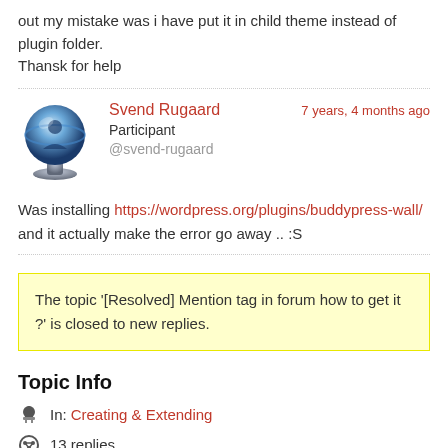out my mistake was i have put it in child theme instead of plugin folder. Thansk for help
7 years, 4 months ago
[Figure (photo): User avatar for Svend Rugaard - silver/blue globe with figure]
Svend Rugaard
Participant
@svend-rugaard
Was installing https://wordpress.org/plugins/buddypress-wall/ and it actually make the error go away .. :S
The topic '[Resolved] Mention tag in forum how to get it ?' is closed to new replies.
Topic Info
In: Creating & Extending
13 replies